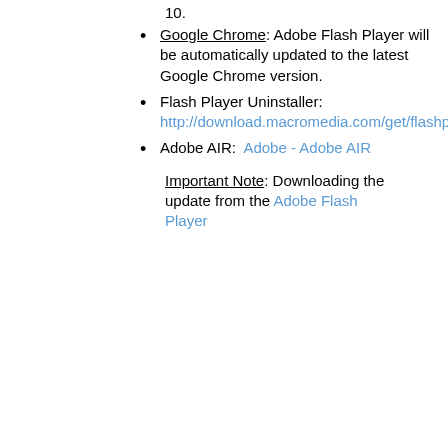10.
Google Chrome: Adobe Flash Player will be automatically updated to the latest Google Chrome version.
Flash Player Uninstaller: http://download.macromedia.com/get/flashplayer/current/support/uninstall_flash_player.exe
Adobe AIR: Adobe - Adobe AIR
Important Note: Downloading the update from the Adobe Flash Player